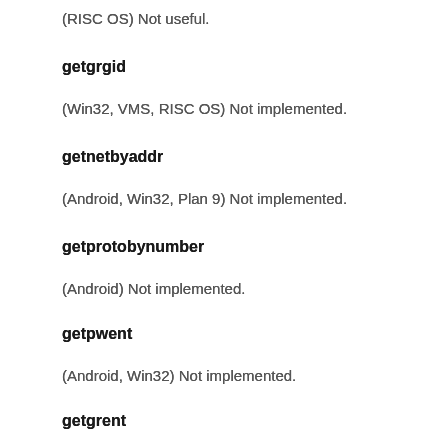(RISC OS) Not useful.
getgrgid
(Win32, VMS, RISC OS) Not implemented.
getnetbyaddr
(Android, Win32, Plan 9) Not implemented.
getprotobynumber
(Android) Not implemented.
getpwent
(Android, Win32) Not implemented.
getgrent
(Android, Win32, VMS) Not implemented.
gethostbyname
(Irix 5) gethostbyname('localhost') does not